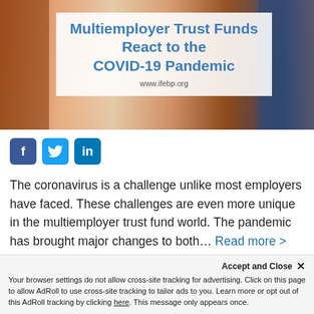[Figure (illustration): Hero image with illustrated diverse people wearing face masks, with a white overlay box containing the article title 'Multiemployer Trust Funds React to the COVID-19 Pandemic' and website URL www.ifebp.org]
[Figure (infographic): Social media share buttons: Facebook (blue f), Twitter (blue bird), LinkedIn (blue in)]
The coronavirus is a challenge unlike most employers have faced. These challenges are even more unique in the multiemployer trust fund world. The pandemic has brought major changes to both… Read more >
Justin Held, CEBS   May 11, 2020
Coronavirus (COVID-19), Employee Benefits, Multiemployer
coronavirus, COVID-19, Employee Benefits in a COVID-19 World
Accept and Close ✕
Your browser settings do not allow cross-site tracking for advertising. Click on this page to allow AdRoll to use cross-site tracking to tailor ads to you. Learn more or opt out of this AdRoll tracking by clicking here. This message only appears once.